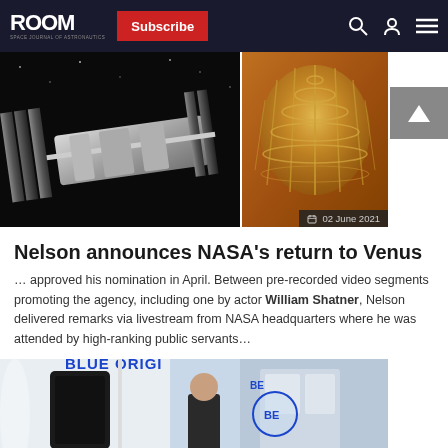ROOM | Subscribe
[Figure (photo): Two images side by side: left shows a spacecraft/ISS component in space against dark background; right shows a gold parachute/heat shield. Date badge reads '02 June 2021'.]
Nelson announces NASA’s return to Venus
… approved his nomination in April. Between pre-recorded video segments promoting the agency, including one by actor William Shatner, Nelson delivered remarks via livestream from NASA headquarters where he was attended by high-ranking public servants…
[Figure (photo): Photo showing a person in front of a Blue Origin rocket capsule with 'BLUE ORIGIN' text visible.]